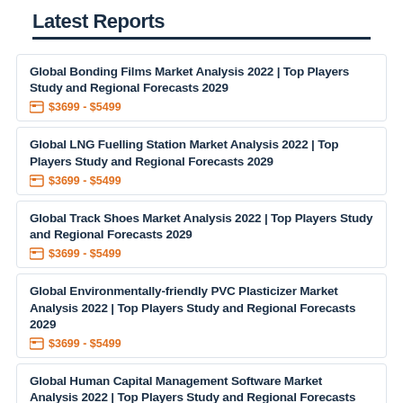Latest Reports
Global Bonding Films Market Analysis 2022 | Top Players Study and Regional Forecasts 2029
$3699 - $5499
Global LNG Fuelling Station Market Analysis 2022 | Top Players Study and Regional Forecasts 2029
$3699 - $5499
Global Track Shoes Market Analysis 2022 | Top Players Study and Regional Forecasts 2029
$3699 - $5499
Global Environmentally-friendly PVC Plasticizer Market Analysis 2022 | Top Players Study and Regional Forecasts 2029
$3699 - $5499
Global Human Capital Management Software Market Analysis 2022 | Top Players Study and Regional Forecasts 2029